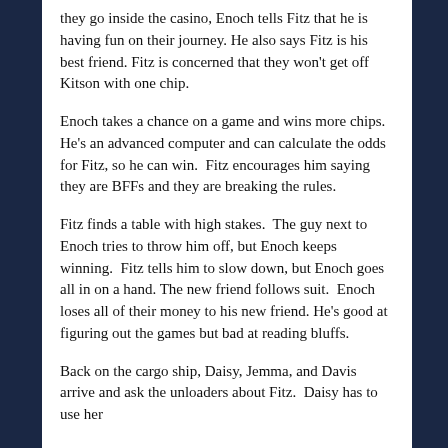they go inside the casino, Enoch tells Fitz that he is having fun on their journey. He also says Fitz is his best friend. Fitz is concerned that they won't get off Kitson with one chip.
Enoch takes a chance on a game and wins more chips. He's an advanced computer and can calculate the odds for Fitz, so he can win. Fitz encourages him saying they are BFFs and they are breaking the rules.
Fitz finds a table with high stakes. The guy next to Enoch tries to throw him off, but Enoch keeps winning. Fitz tells him to slow down, but Enoch goes all in on a hand. The new friend follows suit. Enoch loses all of their money to his new friend. He's good at figuring out the games but bad at reading bluffs.
Back on the cargo ship, Daisy, Jemma, and Davis arrive and ask the unloaders about Fitz. Daisy has to use her